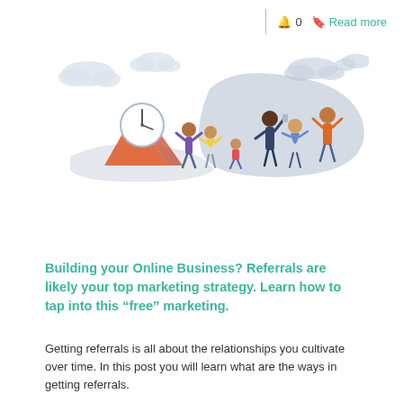🔔 0 🔖 Read more
[Figure (illustration): Flat-style illustration showing people socializing and communicating outdoors, with clouds, a clock, a tent, and a light purple/grey organic shape in the background.]
Building your Online Business? Referrals are likely your top marketing strategy. Learn how to tap into this “free” marketing.
Getting referrals is all about the relationships you cultivate over time. In this post you will learn what are the ways in getting referrals.